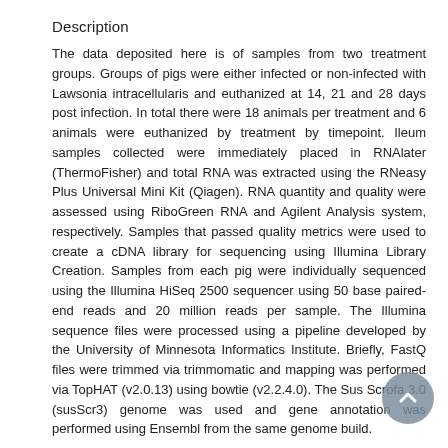Description
The data deposited here is of samples from two treatment groups. Groups of pigs were either infected or non-infected with Lawsonia intracellularis and euthanized at 14, 21 and 28 days post infection. In total there were 18 animals per treatment and 6 animals were euthanized by treatment by timepoint. Ileum samples collected were immediately placed in RNAlater (ThermoFisher) and total RNA was extracted using the RNeasy Plus Universal Mini Kit (Qiagen). RNA quantity and quality were assessed using RiboGreen RNA and Agilent Analysis system, respectively. Samples that passed quality metrics were used to create a cDNA library for sequencing using Illumina Library Creation. Samples from each pig were individually sequenced using the Illumina HiSeq 2500 sequencer using 50 base paired-end reads and 20 million reads per sample. The Illumina sequence files were processed using a pipeline developed by the University of Minnesota Informatics Institute. Briefly, FastQ files were trimmed via trimmomatic and mapping was performed via TopHAT (v2.0.13) using bowtie (v2.2.4.0). The Sus Scrofa 3.0 (susScr3) genome was used and gene annotation was performed using Ensembl from the same genome build.